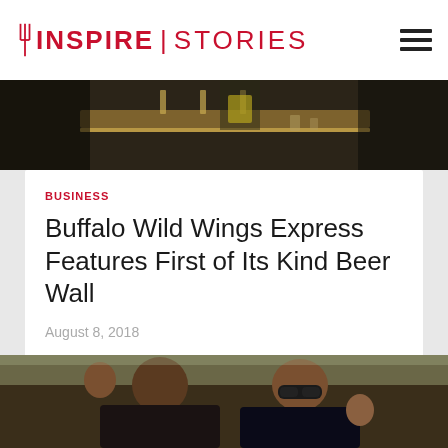INSPIRE | STORIES
[Figure (photo): Interior photo of Buffalo Wild Wings Express restaurant showing bar area with beer taps and staff]
BUSINESS
Buffalo Wild Wings Express Features First of Its Kind Beer Wall
August 8, 2018
[Figure (photo): Two women waving and smiling at camera inside a restaurant booth]